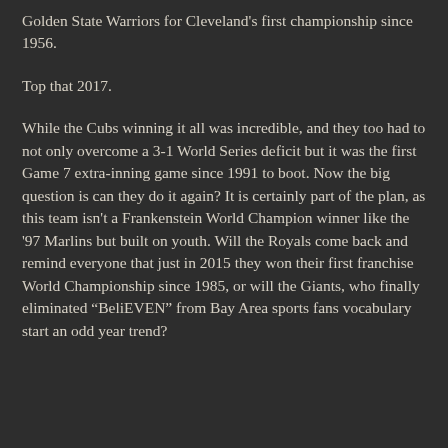Golden State Warriors for Cleveland's first championship since 1956.
Top that 2017.
While the Cubs winning it all was incredible, and they too had to not only overcome a 3-1 World Series deficit but it was the first Game 7 extra-inning game since 1991 to boot. Now the big question is can they do it again? It is certainly part of the plan, as this team isn't a Frankenstein World Champion winner like the '97 Marlins but built on youth. Will the Royals come back and remind everyone that just in 2015 they won their first franchise World Championship since 1985, or will the Giants, who finally eliminated "BeliEVEN" from Bay Area sports fans vocabulary start an odd year trend?